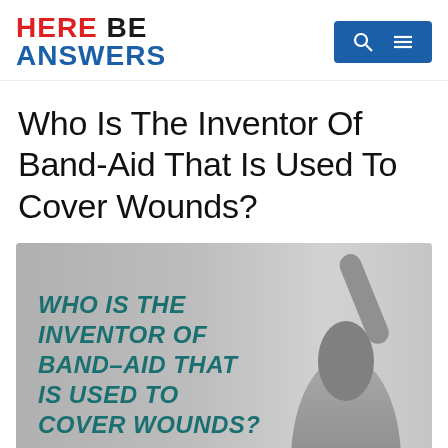HERE BE ANSWERS
Who Is The Inventor Of Band-Aid That Is Used To Cover Wounds?
[Figure (photo): Hero image with gray background showing a person with raised arm and overlaid bold teal italic text reading: WHO IS THE INVENTOR OF BAND-AID THAT IS USED TO COVER WOUNDS?]